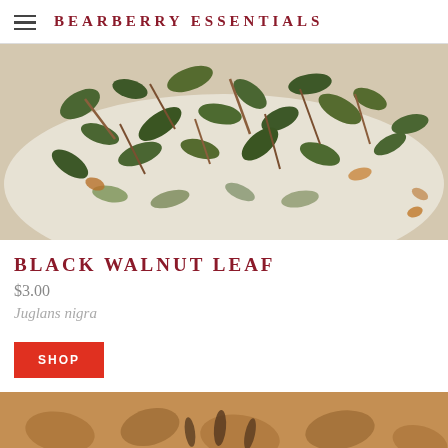BEARBERRY ESSENTIALS
[Figure (photo): Close-up photo of dried black walnut leaf herb scattered on white surface, showing green and brown fragments]
BLACK WALNUT LEAF
$3.00
Juglans nigra
SHOP
[Figure (photo): Close-up photo of dried botanical herb material in warm orange/brown tones, partially visible at bottom of page]